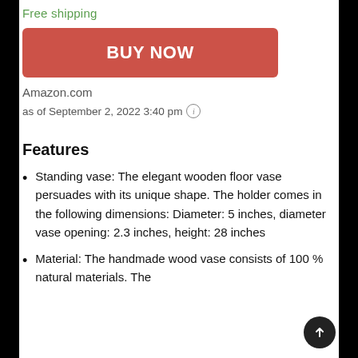Free shipping
[Figure (other): Red BUY NOW button]
Amazon.com
as of September 2, 2022 3:40 pm (i)
Features
Standing vase: The elegant wooden floor vase persuades with its unique shape. The holder comes in the following dimensions: Diameter: 5 inches, diameter vase opening: 2.3 inches, height: 28 inches
Material: The handmade wood vase consists of 100 % natural materials. The